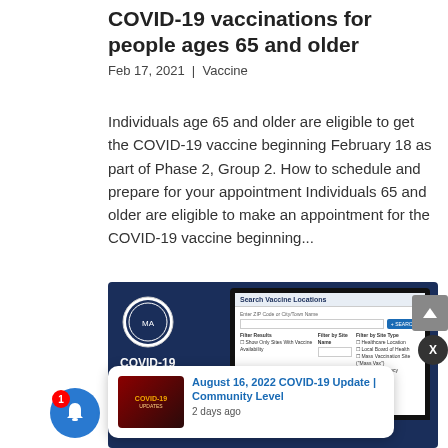COVID-19 vaccinations for people ages 65 and older
Feb 17, 2021 | Vaccine
Individuals age 65 and older are eligible to get the COVID-19 vaccine beginning February 18 as part of Phase 2, Group 2. How to schedule and prepare for your appointment Individuals 65 and older are eligible to make an appointment for the COVID-19 vaccine beginning...
[Figure (screenshot): Screenshot of Massachusetts COVID-19 Vaccine Finder website on a laptop mockup with dark blue background, Massachusetts state seal, and a popup notification about August 16, 2022 COVID-19 Update | Community Level, 2 days ago.]